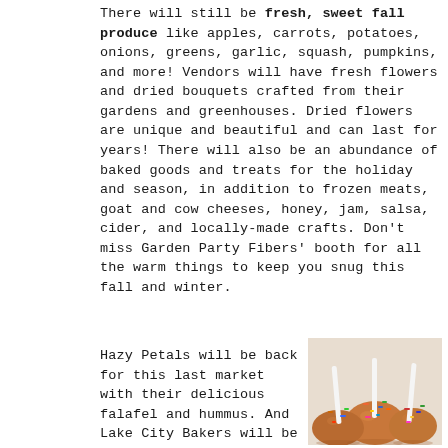There will still be fresh, sweet fall produce like apples, carrots, potatoes, onions, greens, garlic, squash, pumpkins, and more! Vendors will have fresh flowers and dried bouquets crafted from their gardens and greenhouses. Dried flowers are unique and beautiful and can last for years! There will also be an abundance of baked goods and treats for the holiday and season, in addition to frozen meats, goat and cow cheeses, honey, jam, salsa, cider, and locally-made crafts. Don't miss Garden Party Fibers' booth for all the warm things to keep you snug this fall and winter.
Hazy Petals will be back for this last market with their delicious falafel and hummus. And Lake City Bakers will be celebrating with
[Figure (photo): Photo of caramel apples with colorful sprinkles and white sticks on a light background]